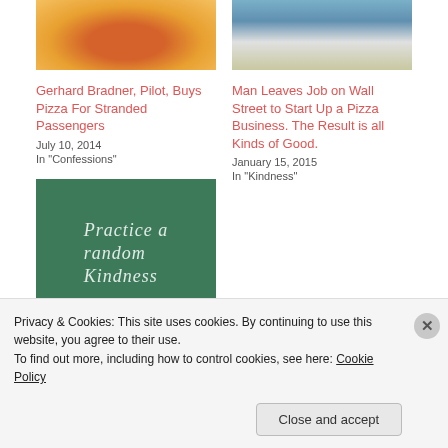[Figure (photo): Heart-shaped pizza with pepperoni toppings viewed from above]
[Figure (photo): Person in white t-shirt standing in front of colorful post-it notes on a wall]
Gerhard Bradner, Pilot, Buys Pizza For Stranded Passengers
July 10, 2014
In "Confessions"
Man Leaves Job on Wall Street to Start Up a Pizza Business. The Result is all Kinds of Good.
January 15, 2015
In "Kindness"
[Figure (photo): Green chalkboard with text 'Practice random Kindness' written in chalk]
Privacy & Cookies: This site uses cookies. By continuing to use this website, you agree to their use.
To find out more, including how to control cookies, see here: Cookie Policy